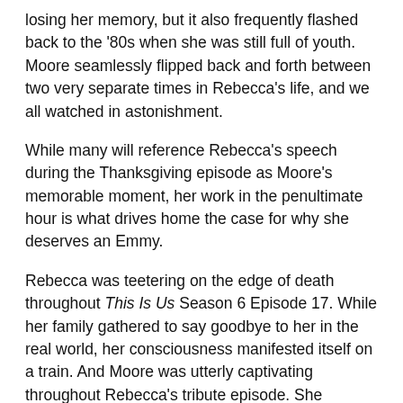losing her memory, but it also frequently flashed back to the '80s when she was still full of youth. Moore seamlessly flipped back and forth between two very separate times in Rebecca's life, and we all watched in astonishment.
While many will reference Rebecca's speech during the Thanksgiving episode as Moore's memorable moment, her work in the penultimate hour is what drives home the case for why she deserves an Emmy.
Rebecca was teetering on the edge of death throughout This Is Us Season 6 Episode 17. While her family gathered to say goodbye to her in the real world, her consciousness manifested itself on a train. And Moore was utterly captivating throughout Rebecca's tribute episode. She perfectly balanced the happy with the sad as she reflected on her life and her utter devastation of leaving her children.